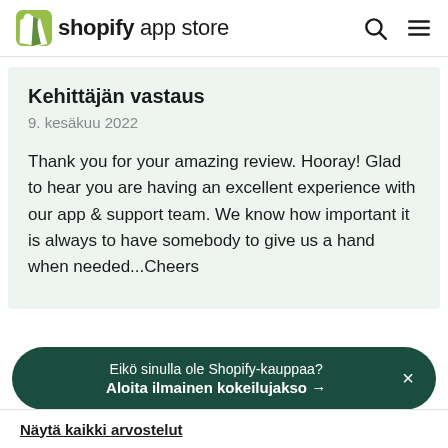shopify app store
Kehittäjän vastaus
9. kesäkuu 2022
Thank you for your amazing review. Hooray! Glad to hear you are having an excellent experience with our app & support team. We know how important it is always to have somebody to give us a hand when needed...Cheers
Eikö sinulla ole Shopify-kauppaa?
Aloita ilmainen kokeilujakso →
Näytä kaikki arvostelut